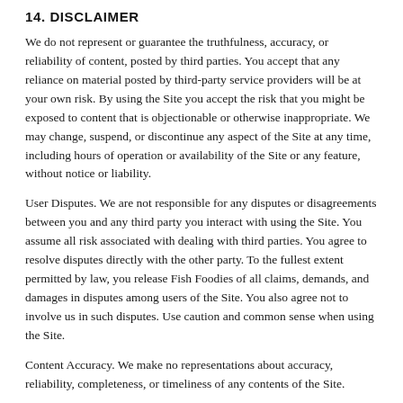14. DISCLAIMER
We do not represent or guarantee the truthfulness, accuracy, or reliability of content, posted by third parties. You accept that any reliance on material posted by third-party service providers will be at your own risk. By using the Site you accept the risk that you might be exposed to content that is objectionable or otherwise inappropriate. We may change, suspend, or discontinue any aspect of the Site at any time, including hours of operation or availability of the Site or any feature, without notice or liability.
User Disputes. We are not responsible for any disputes or disagreements between you and any third party you interact with using the Site. You assume all risk associated with dealing with third parties. You agree to resolve disputes directly with the other party. To the fullest extent permitted by law, you release Fish Foodies of all claims, demands, and damages in disputes among users of the Site. You also agree not to involve us in such disputes. Use caution and common sense when using the Site.
Content Accuracy. We make no representations about accuracy, reliability, completeness, or timeliness of any contents of the Site.